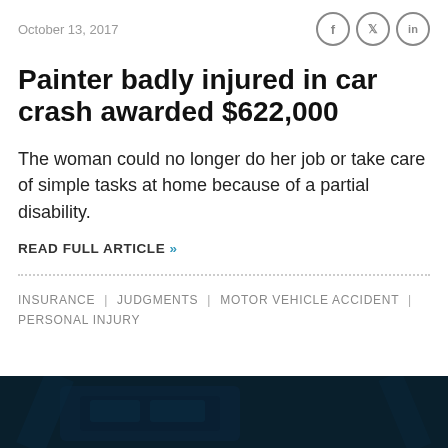October 13, 2017
Painter badly injured in car crash awarded $622,000
The woman could no longer do her job or take care of simple tasks at home because of a partial disability.
READ FULL ARTICLE »
INSURANCE | JUDGMENTS | MOTOR VEHICLE ACCIDENT | PERSONAL INJURY
[Figure (photo): Dark blue tinted photo at bottom of page, showing a car or vehicle scene]